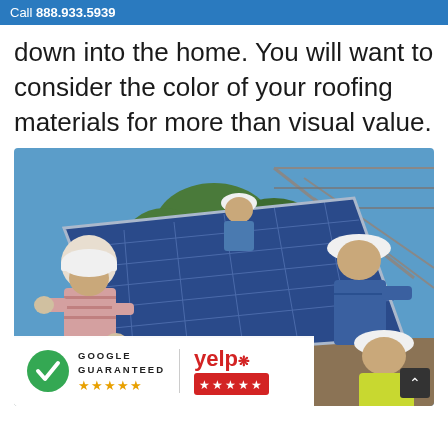Call 888.933.5939
down into the home. You will want to consider the color of your roofing materials for more than visual value.
[Figure (photo): Three workers in hard hats installing a large solar panel outdoors, with a metal frame structure in the background. One worker on the left wears a pink striped shirt, one in the center top wears blue, one on the right wears blue coveralls, and one at bottom right wears a yellow-green vest. Overlaid at the bottom are a Google Guaranteed badge with 5 stars and a Yelp badge with 5 stars.]